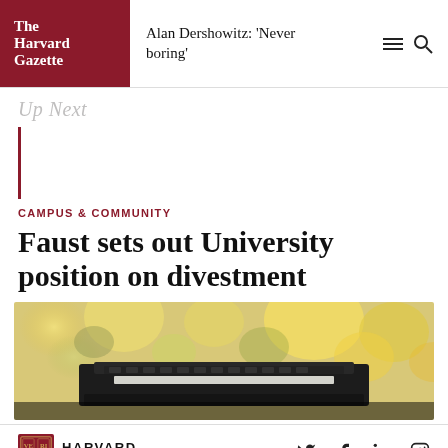The Harvard Gazette | Alan Dershowitz: 'Never boring'
Up Next
CAMPUS & COMMUNITY
Faust sets out University position on divestment
[Figure (photo): Close-up photo of a vintage typewriter with autumn bokeh background in warm yellows and oranges]
HARVARD UNIVERSITY — social icons: Twitter, Facebook, LinkedIn, Instagram